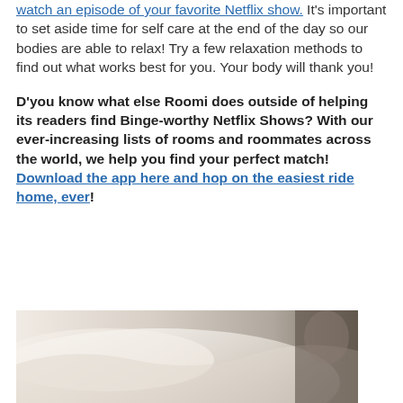watch an episode of your favorite Netflix show. It's important to set aside time for self care at the end of the day so our bodies are able to relax! Try a few relaxation methods to find out what works best for you. Your body will thank you!
D'you know what else Roomi does outside of helping its readers find Binge-worthy Netflix Shows? With our ever-increasing lists of rooms and roommates across the world, we help you find your perfect match! Download the app here and hop on the easiest ride home, ever!
[Figure (photo): Photo of a person lying in bed with white sheets, partially visible]